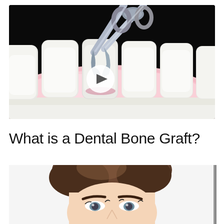[Figure (photo): Medical illustration of a dental procedure: a pair of metal dental forceps/pliers gripping a tooth from a set of white teeth embedded in pink gums, against a dark background. A white circular play button overlay is centered on the image, indicating this is a video thumbnail.]
What is a Dental Bone Graft?
[Figure (photo): Partial photo of a young woman with dark brown hair, visible from the top of her head to just below her eyes, with prominent dark eyebrows and blue/gray eyes, against a white background. The image is cropped at the bottom edge of the page.]